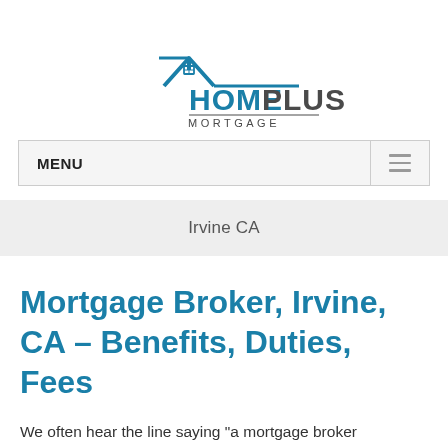[Figure (logo): HomePlus Mortgage logo with house icon outline in teal/dark blue above the text HOME PLUS MORTGAGE]
MENU
Irvine CA
Mortgage Broker, Irvine, CA – Benefits, Duties, Fees
We often hear the line saying "a mortgage broker